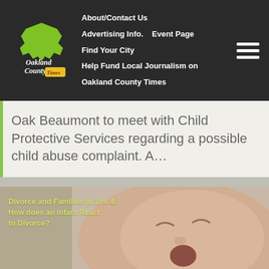About/Contact Us | Advertising Info. | Event Page | Find Your City | Help Fund Local Journalism on Oakland County Times
Oak Beaumont to meet with Child Protective Services regarding a possible child abuse complaint. A…
[Figure (photo): A crying infant with text overlay: 'Divorce and Families pt 1 of 4: How does an Infant React to Divorce?' Photo credit: Lisa Schmidt, oct15.com, March 22, 2018]
Divorce and Families pt 1 of 4: How does an Infant React to Divorce?